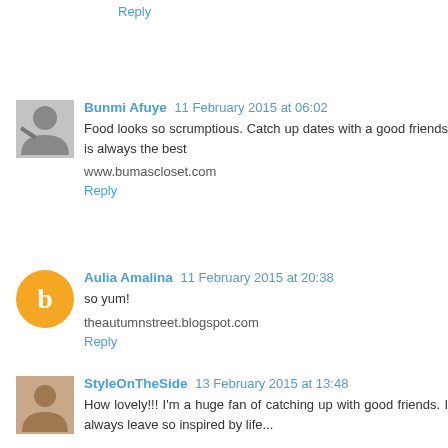Reply
Bunmi Afuye  11 February 2015 at 06:02
Food looks so scrumptious. Catch up dates with a good friends is always the best

www.bumascloset.com
Reply
Aulia Amalina  11 February 2015 at 20:38
so yum!

theautumnstreet.blogspot.com
Reply
StyleOnTheSide  13 February 2015 at 13:48
How lovely!!! I'm a huge fan of catching up with good friends. I always leave so inspired by life...